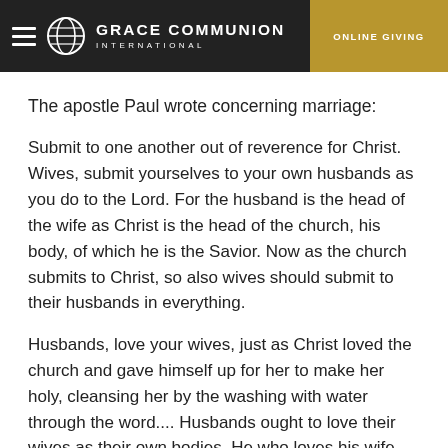GRACE COMMUNION INTERNATIONAL | ONLINE GIVING
The apostle Paul wrote concerning marriage:
Submit to one another out of reverence for Christ. Wives, submit yourselves to your own husbands as you do to the Lord. For the husband is the head of the wife as Christ is the head of the church, his body, of which he is the Savior. Now as the church submits to Christ, so also wives should submit to their husbands in everything.
Husbands, love your wives, just as Christ loved the church and gave himself up for her to make her holy, cleansing her by the washing with water through the word.... Husbands ought to love their wives as their own bodies. He who loves his wife